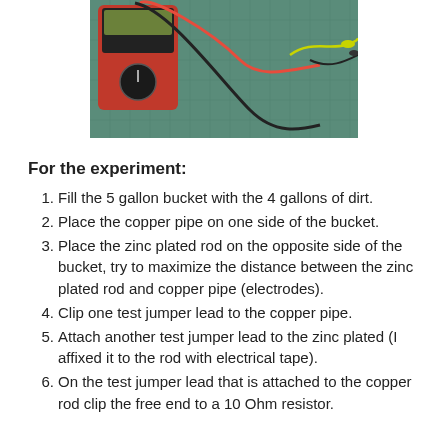[Figure (photo): Photo of a digital multimeter with red and black test leads and yellow-green jumper wires on a green cutting mat background]
For the experiment:
Fill the 5 gallon bucket with the 4 gallons of dirt.
Place the copper pipe on one side of the bucket.
Place the zinc plated rod on the opposite side of the bucket, try to maximize the distance between the zinc plated rod and copper pipe (electrodes).
Clip one test jumper lead to the copper pipe.
Attach another test jumper lead to the zinc plated (I affixed it to the rod with electrical tape).
On the test jumper lead that is attached to the copper rod clip the free end to a 10 Ohm resistor.